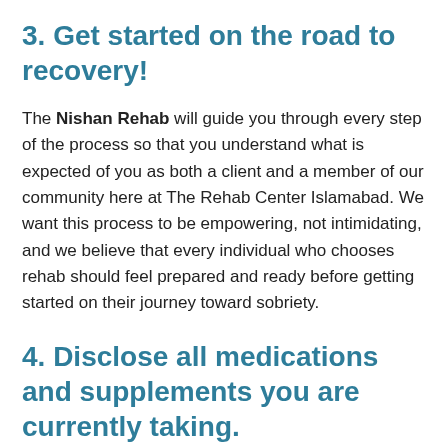3. Get started on the road to recovery!
The Nishan Rehab will guide you through every step of the process so that you understand what is expected of you as both a client and a member of our community here at The Rehab Center Islamabad. We want this process to be empowering, not intimidating, and we believe that every individual who chooses rehab should feel prepared and ready before getting started on their journey toward sobriety.
4. Disclose all medications and supplements you are currently taking.